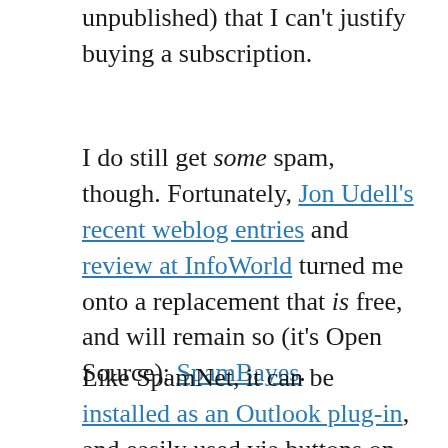unpublished) that I can't justify buying a subscription.
I do still get some spam, though. Fortunately, Jon Udell's recent weblog entries and review at InfoWorld turned me onto a replacement that is free, and will remain so (it's Open Source): SpamBayes.
Like SpamNet, it can be installed as an Outlook plug-in, and easily used via buttons on Outlook's toolbar. But the technology behind it is very different, as it uses Bayesian filtering rather than distributed recognition. It's also different in that the core project and recognition engine is command line-oriented. The Outlook plug-in is a simplified...